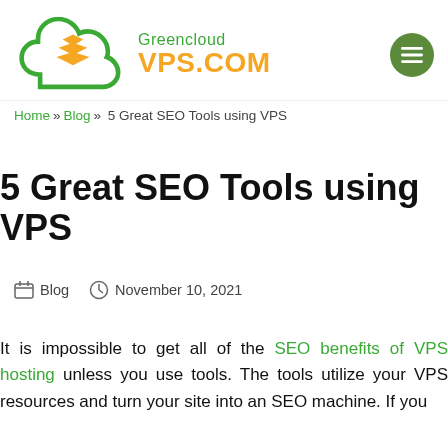[Figure (logo): Greencloud VPS.COM logo with green cloud icon containing orange chevrons, green text 'Greencloud' and orange text 'VPS.COM']
[Figure (other): Dark green circular hamburger menu button with three white horizontal lines]
Home » Blog » 5 Great SEO Tools using VPS
5 Great SEO Tools using VPS
Blog   November 10, 2021
It is impossible to get all of the SEO benefits of VPS hosting unless you use tools. The tools utilize your VPS resources and turn your site into an SEO machine. If you